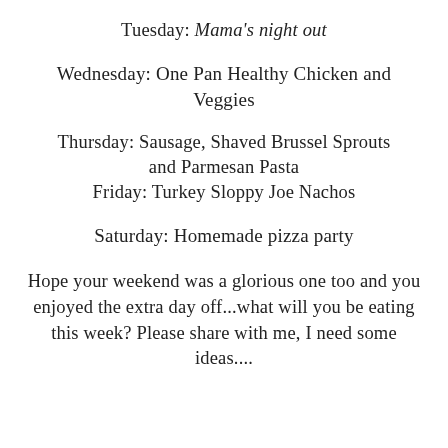Tuesday: Mama's night out
Wednesday: One Pan Healthy Chicken and Veggies
Thursday: Sausage, Shaved Brussel Sprouts and Parmesan Pasta
Friday: Turkey Sloppy Joe Nachos
Saturday: Homemade pizza party
Hope your weekend was a glorious one too and you enjoyed the extra day off...what will you be eating this week? Please share with me, I need some ideas....